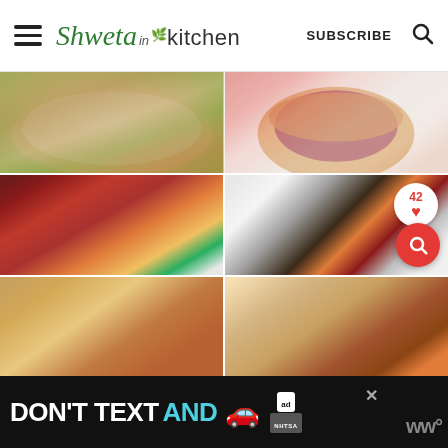Shweta in kitchen | SUBSCRIBE
[Figure (photo): Grid of six food lunch box photos: rice/vegetable dish, burger/beetroot, tomatoes/vegetables, snacks/cucumber/tomatoes, pizza muffins, wraps with dipping sauce. Bottom-right cell has a heart/like badge showing 42 and a red search FAB button.]
[Figure (photo): Advertisement banner: DON'T TEXT AND [car emoji] with ad badge and NHTSA logo, close button, Weather Underground logo on right]